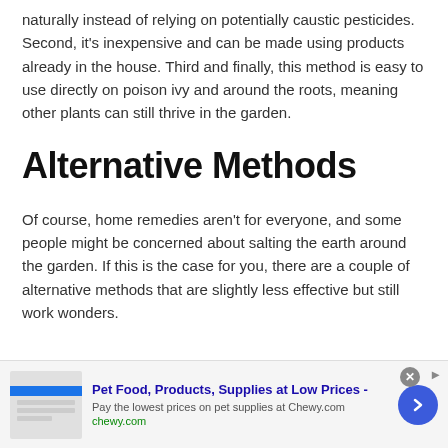naturally instead of relying on potentially caustic pesticides. Second, it's inexpensive and can be made using products already in the house. Third and finally, this method is easy to use directly on poison ivy and around the roots, meaning other plants can still thrive in the garden.
Alternative Methods
Of course, home remedies aren't for everyone, and some people might be concerned about salting the earth around the garden. If this is the case for you, there are a couple of alternative methods that are slightly less effective but still work wonders.
[Figure (other): Advertisement banner for Chewy.com: 'Pet Food, Products, Supplies at Low Prices - Pay the lowest prices on pet supplies at Chewy.com' with a close button and a blue arrow button.]